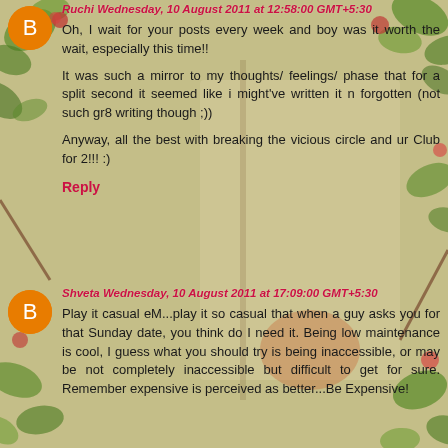Ruchi Wednesday, 10 August 2011 at 12:58:00 GMT+5:30
Oh, I wait for your posts every week and boy was it worth the wait, especially this time!!
It was such a mirror to my thoughts/ feelings/ phase that for a split second it seemed like i might've written it n forgotten (not such gr8 writing though ;))
Anyway, all the best with breaking the vicious circle and ur Club for 2!!! :)
Reply
Shveta Wednesday, 10 August 2011 at 17:09:00 GMT+5:30
Play it casual eM...play it so casual that when a guy asks you for that Sunday date, you think do I need it. Being low maintenance is cool, I guess what you should try is being inaccessible, or may be not completely inaccessible but difficult to get for sure. Remember expensive is perceived as better...Be Expensive!